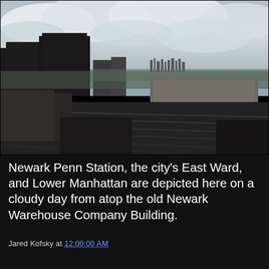[Figure (photo): Aerial view of Newark Penn Station, the city's East Ward, and Lower Manhattan skyline visible in the distance on a cloudy day, taken from atop the old Newark Warehouse Company Building. Railroad tracks, parking lots, and dark buildings visible in foreground.]
Newark Penn Station, the city's East Ward, and Lower Manhattan are depicted here on a cloudy day from atop the old Newark Warehouse Company Building.
Jared Kofsky at 12:00:00 AM